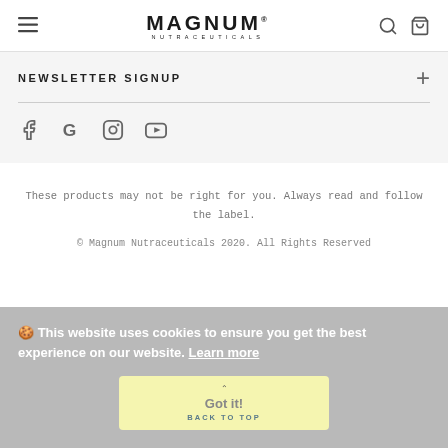MAGNUM NUTRACEUTICALS
NEWSLETTER SIGNUP
These products may not be right for you. Always read and follow the label.
© Magnum Nutraceuticals 2020. All Rights Reserved
🍪 This website uses cookies to ensure you get the best experience on our website. Learn more
Got it! BACK TO TOP